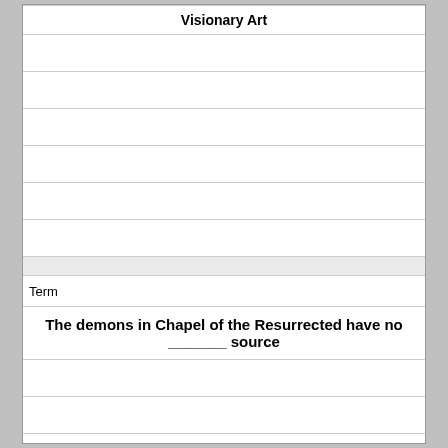| Visionary Art |
| --- |
|  |
|  |
|  |
|  |
|  |
|  |
| (gray row) |
| Term |
| The demons in Chapel of the Resurrected have no _______ source |
|  |
|  |
|  |
|  |
|  |
|  |